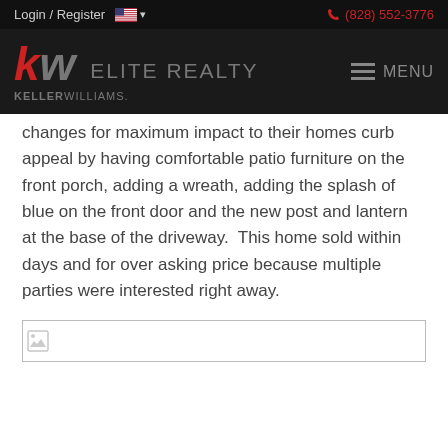Login / Register   🇺🇸 ▾   (828) 552-3776
[Figure (logo): KW Elite Realty - Keller Williams logo on dark background with hamburger menu icon and MENU text]
changes for maximum impact to their homes curb appeal by having comfortable patio furniture on the front porch, adding a wreath, adding the splash of blue on the front door and the new post and lantern at the base of the driveway.  This home sold within days and for over asking price because multiple parties were interested right away.
[Figure (photo): Broken/missing image placeholder with small image icon in top-left corner]